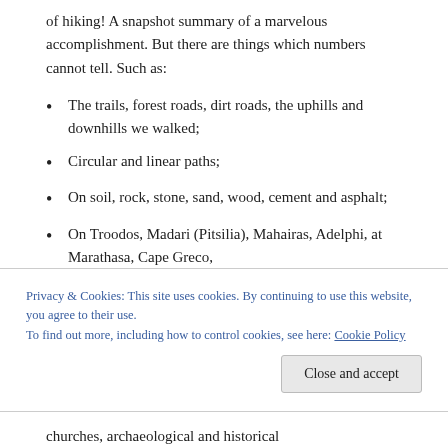of hiking! A snapshot summary of a marvelous accomplishment. But there are things which numbers cannot tell. Such as:
The trails, forest roads, dirt roads, the uphills and downhills we walked;
Circular and linear paths;
On soil, rock, stone, sand, wood, cement and asphalt;
On Troodos, Madari (Pitsilia), Mahairas, Adelphi, at Marathasa, Cape Greco,
Privacy & Cookies: This site uses cookies. By continuing to use this website, you agree to their use.
To find out more, including how to control cookies, see here: Cookie Policy
churches, archaeological and historical